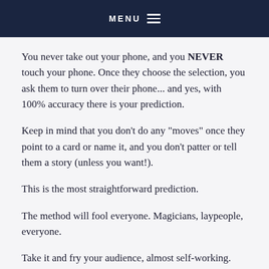MENU
You never take out your phone, and you NEVER touch your phone. Once they choose the selection, you ask them to turn over their phone... and yes, with 100% accuracy there is your prediction.
Keep in mind that you don't do any "moves" once they point to a card or name it, and you don't patter or tell them a story (unless you want!).
This is the most straightforward prediction.
The method will fool everyone. Magicians, laypeople, everyone.
Take it and fry your audience, almost self-working.
Totally customizable as any other Mariano Goni product.